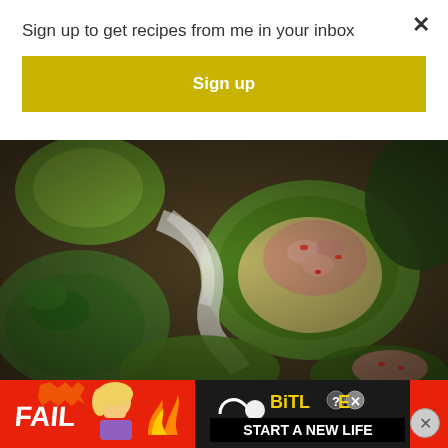Sign up to get recipes from me in your inbox
Sign up
×
[Figure (photo): Close-up food photo of avocado halves filled with shrimp ceviche salad, with lime and herbs on a dark wooden background]
[Figure (photo): Advertisement banner: BitLife game ad with 'FAIL' text, cartoon girl, fire, BitLife logo with question mark, X close button, 'START A NEW LIFE' text on black background]